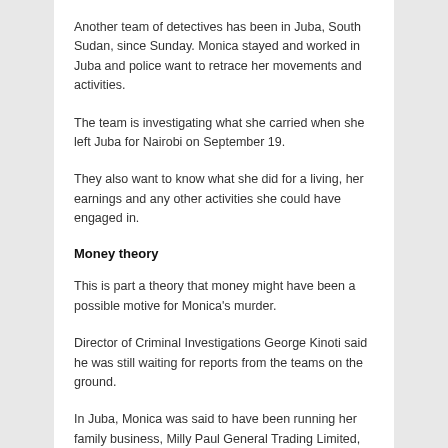Another team of detectives has been in Juba, South Sudan, since Sunday. Monica stayed and worked in Juba and police want to retrace her movements and activities.
The team is investigating what she carried when she left Juba for Nairobi on September 19.
They also want to know what she did for a living, her earnings and any other activities she could have engaged in.
Money theory
This is part a theory that money might have been a possible motive for Monica's murder.
Director of Criminal Investigations George Kinoti said he was still waiting for reports from the teams on the ground.
In Juba, Monica was said to have been running her family business, Milly Paul General Trading Limited, which